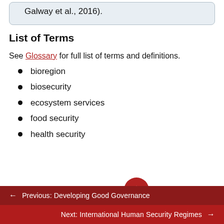Galway et al., 2016).
List of Terms
See Glossary for full list of terms and definitions.
bioregion
biosecurity
ecosystem services
food security
health security
← Previous: Developing Good Governance
Next: International Human Security Regimes →